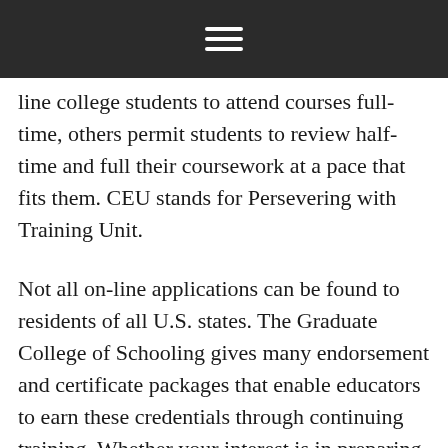☰
line college students to attend courses full-time, others permit students to review half-time and full their coursework at a pace that fits them. CEU stands for Persevering with Training Unit.
Not all on-line applications can be found to residents of all U.S. states. The Graduate College of Schooling gives many endorsement and certificate packages that enable educators to earn these credentials through continuing training. Whether your interest is in preparing for faculty or constructing a professional portfolio, SCPS